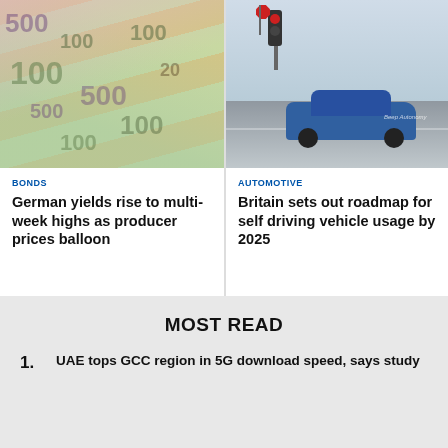[Figure (photo): Close-up of Euro banknotes (100 and 500 denomination bills, green and pink) spread out]
[Figure (photo): Blue autonomous vehicle on a wet road in winter, with a stop sign and traffic light in background]
BONDS
German yields rise to multi-week highs as producer prices balloon
AUTOMOTIVE
Britain sets out roadmap for self driving vehicle usage by 2025
MOST READ
1. UAE tops GCC region in 5G download speed, says study